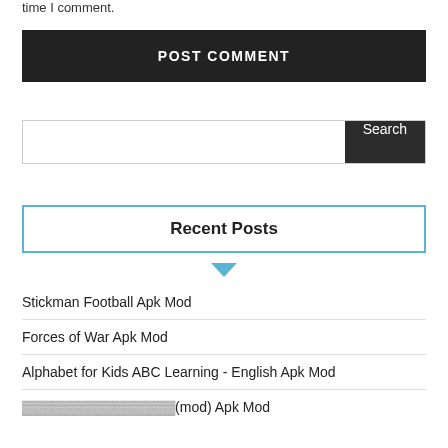time I comment.
POST COMMENT
Search
Recent Posts
Stickman Football Apk Mod
Forces of War Apk Mod
Alphabet for Kids ABC Learning - English Apk Mod
▓▓▓▓▓▓▓▓▓▓▓▓▓▓▓(mod) Apk Mod